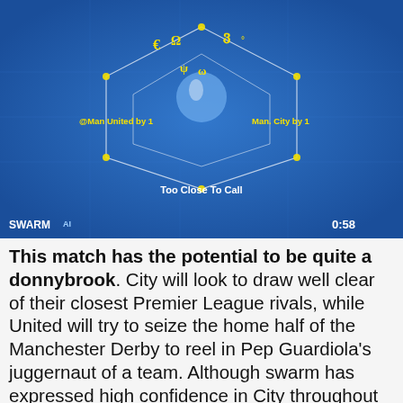[Figure (screenshot): SWARM AI soccer match prediction visualization showing a hexagonal radar chart on a blue background. Labels show '@Man United by 1' on the left, 'Man. City by 1' on the right, and 'Too Close To Call' at the bottom center. Timer shows 0:58 in the bottom right corner.]
This match has the potential to be quite a donnybrook. City will look to draw well clear of their closest Premier League rivals, while United will try to seize the home half of the Manchester Derby to reel in Pep Guardiola's juggernaut of a team. Although swarm has expressed high confidence in City throughout the season, for this match they've tempered that enthusiasm a bit. The swarm's wavering confidence as expressed by a low Brain Power value is due partly to off...
We use cookies to understand how you use our site, personalize content, and improve the quality of our Services. By continuing to use this site, including staying on this page, you consent to our use of cookies. More information about how we use cookies can be seen on our Privacy Policy. If you choose to disable cookies, portions of this site may not function correctly.